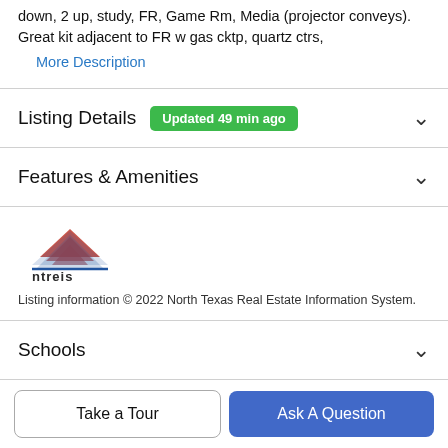down, 2 up, study, FR, Game Rm, Media (projector conveys). Great kit adjacent to FR w gas cktp, quartz ctrs,
More Description
Listing Details  Updated 49 min ago
Features & Amenities
[Figure (logo): ntreis logo - stylized house shape in red and blue above the text 'ntreis']
Listing information © 2022 North Texas Real Estate Information System.
Schools
Take a Tour
Ask A Question